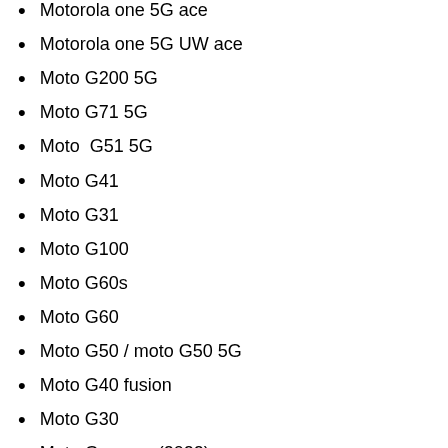Motorola one 5G ace
Motorola one 5G UW ace
Moto G200 5G
Moto G71 5G
Moto  G51 5G
Moto G41
Moto G31
Moto G100
Moto G60s
Moto G60
Moto G50 / moto G50 5G
Moto G40 fusion
Moto G30
Moto G power (2022)
Moto G Pure
Moto G stylus 5G